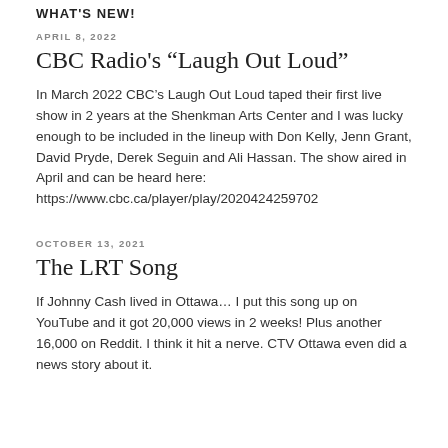WHAT'S NEW!
APRIL 8, 2022
CBC Radio's “Laugh Out Loud”
In March 2022 CBC’s Laugh Out Loud taped their first live show in 2 years at the Shenkman Arts Center and I was lucky enough to be included in the lineup with Don Kelly, Jenn Grant, David Pryde, Derek Seguin and Ali Hassan. The show aired in April and can be heard here: https://www.cbc.ca/player/play/2020424259702
OCTOBER 13, 2021
The LRT Song
If Johnny Cash lived in Ottawa… I put this song up on YouTube and it got 20,000 views in 2 weeks! Plus another 16,000 on Reddit. I think it hit a nerve. CTV Ottawa even did a news story about it.